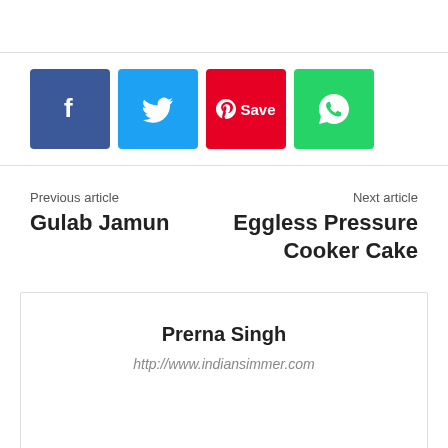[Figure (other): Social share buttons: Facebook (blue), Twitter (light blue), Pinterest Save (red), WhatsApp (green)]
Previous article
Gulab Jamun
Next article
Eggless Pressure Cooker Cake
Prerna Singh
http://www.indiansimmer.com